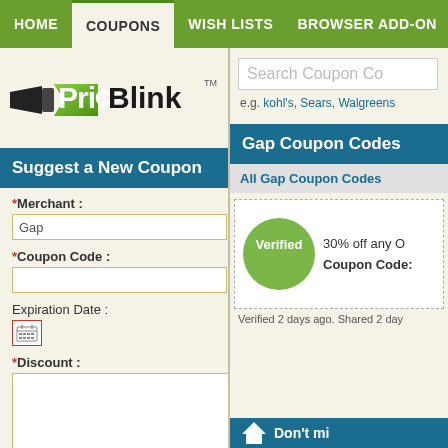HOME | COUPONS | WISH LISTS | BROWSER ADD-ON
[Figure (logo): PriceBlink logo with flashlight icon and green arrow tag]
Search Coupon Co
e.g. kohl's, Sears, Walgreens
Suggest a New Coupon
Gap Coupon Codes
*Merchant :
Gap
*Coupon Code :
Expiration Date :
*Discount :
All Gap Coupon Codes
30% off any O
Coupon Code:
Verified
Verified 2 days ago. Shared 2 day
Don't mi
Example: Save $10 off any purchase over $100.